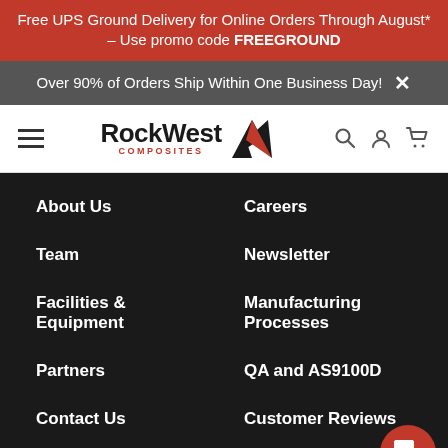Free UPS Ground Delivery for Online Orders Through August* – Use promo code FREEGROUND
Over 90% of Orders Ship Within One Business Day!
[Figure (logo): Rock West Composites logo with mountain triangle icon, hamburger menu, search, account, and cart icons in navigation bar]
About Us
Careers
Team
Newsletter
Facilities & Equipment
Manufacturing Processes
Partners
QA and AS9100D
Contact Us
Customer Reviews
Shop Carbon Fiber
FAQs